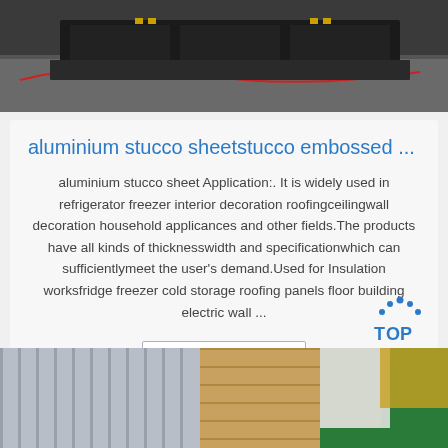[Figure (photo): Top portion of a product/industrial photo showing dark equipment on concrete with red wiring visible]
aluminium stucco sheetstucco embossed ...
aluminium stucco sheet Application:. It is widely used in refrigerator freezer interior decoration roofingceilingwall decoration household applicances and other fields.The products have all kinds of thicknesswidth and specificationwhich can sufficientlymeet the user's demand.Used for Insulation worksfridge freezer cold storage roofing panels floor building electric wall ...
Get Price
[Figure (photo): Bottom photo showing aluminium sheets/rolls, wooden boards, and green surface in a warehouse or factory setting]